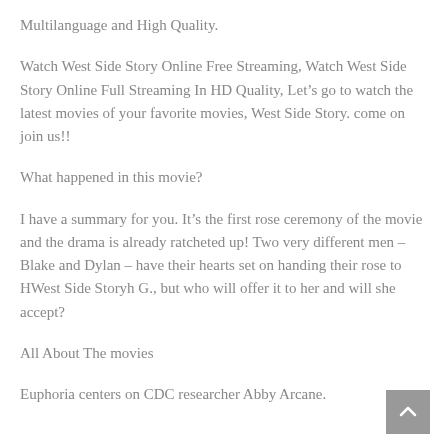Multilanguage and High Quality.
Watch West Side Story Online Free Streaming, Watch West Side Story Online Full Streaming In HD Quality, Let’s go to watch the latest movies of your favorite movies, West Side Story. come on join us!!
What happened in this movie?
I have a summary for you. It’s the first rose ceremony of the movie and the drama is already ratcheted up! Two very different men – Blake and Dylan – have their hearts set on handing their rose to HWest Side Storyh G., but who will offer it to her and will she accept?
All About The movies
Euphoria centers on CDC researcher Abby Arcane.